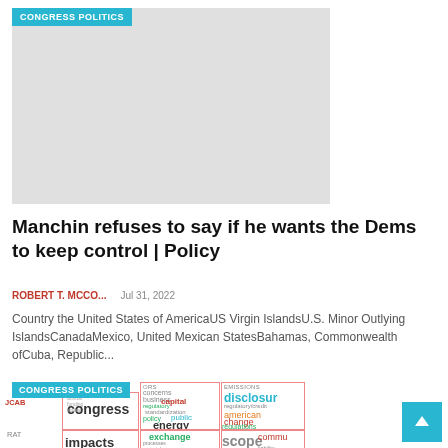[Figure (photo): Gray placeholder image with CONGRESS POLITICS tag badge overlay in top-left corner]
Manchin refuses to say if he wants the Dems to keep control | Policy
ROBERT T. MCCO...   Jul 31, 2022
Country the United States of AmericaUS Virgin IslandsU.S. Minor Outlying IslandsCanadaMexico, United Mexican StatesBahamas, Commonwealth ofCuba, Republic...
[Figure (infographic): Word cloud visualization grid showing political and financial terms such as congress, capital, energy, disclosure, impacts, public, reporting, scope, emissions, exchange, regulations, american, change, communications, environment. Tagged with CONGRESS POLITICS badge, JCAB and RAT labels on left side.]